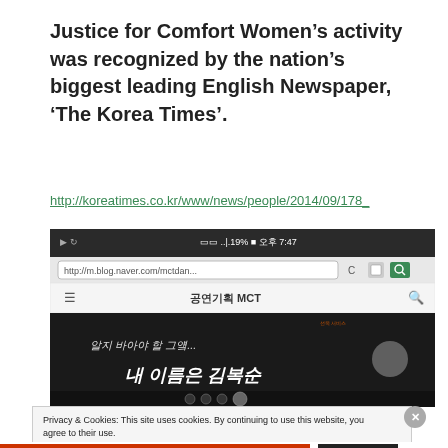Justice for Comfort Women’s activity was recognized by the nation’s biggest leading English Newspaper, ‘The Korea Times’.
http://koreatimes.co.kr/www/news/people/2014/09/178_
[Figure (screenshot): Screenshot of a mobile browser (Naver blog page 공연기획 MCT) showing a Korean-language video thumbnail with white handwritten Korean text on a dark background.]
Privacy & Cookies: This site uses cookies. By continuing to use this website, you agree to their use.
To find out more, including how to control cookies, see here: Cookie Policy
Close and accept